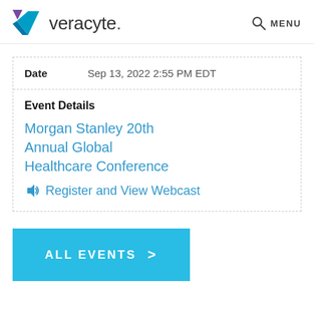veracyte. MENU
| Date | Sep 13, 2022 2:55 PM EDT |
| --- | --- |
Event Details
Morgan Stanley 20th Annual Global Healthcare Conference
Register and View Webcast
ALL EVENTS >